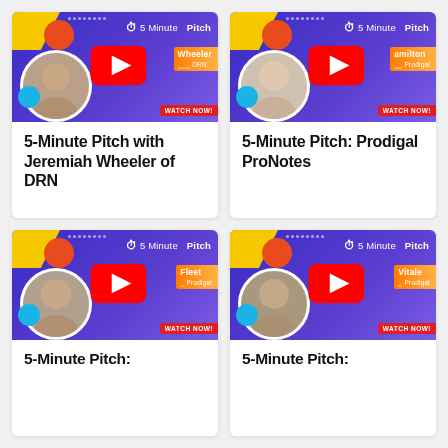[Figure (screenshot): 5 Minute Pitch video thumbnail for Jeremiah Wheeler of DRN, showing a YouTube play button overlay on a purple branded card]
5-Minute Pitch with Jeremiah Wheeler of DRN
[Figure (screenshot): 5 Minute Pitch video thumbnail for Prodigal ProNotes featuring Hamilton, showing a YouTube play button overlay on a purple branded card]
5-Minute Pitch: Prodigal ProNotes
[Figure (screenshot): 5 Minute Pitch video thumbnail for Fleet of Prodigal, showing a YouTube play button overlay on a purple branded card]
5-Minute Pitch:
[Figure (screenshot): 5 Minute Pitch video thumbnail for Vitale of Prodigal, showing a YouTube play button overlay on a purple branded card]
5-Minute Pitch: